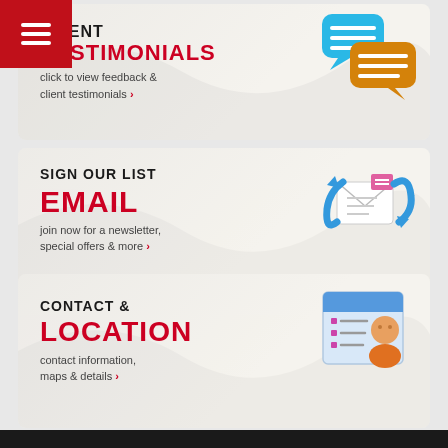[Figure (screenshot): Red hamburger menu button in top-left corner]
[Figure (infographic): Client Testimonials card with chat bubble icons, text: CLIENT TESTIMONIALS, click to view feedback & client testimonials]
[Figure (infographic): Sign Our List Email card with email/sync icon, text: SIGN OUR LIST EMAIL, join now for a newsletter, special offers & more]
[Figure (infographic): Contact & Location card with contact card icon, text: CONTACT & LOCATION, contact information, maps & details]